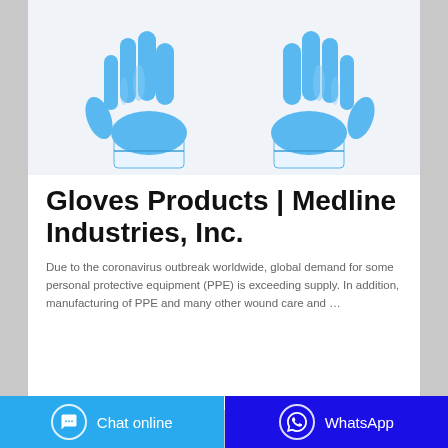[Figure (photo): Two blue medical/examination gloves shown from the back, displayed side by side on a white background]
Gloves Products | Medline Industries, Inc.
Due to the coronavirus outbreak worldwide, global demand for some personal protective equipment (PPE) is exceeding supply. In addition, manufacturing of PPE and many other wound care and …